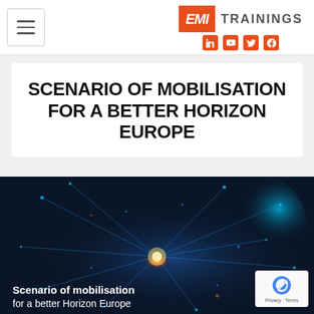EMI TRAININGS
SCENARIO OF MOBILISATION FOR A BETTER HORIZON EUROPE
[Figure (illustration): Dark blue digital brain/neural network illustration with glowing orange and blue light bursts, representing AI or neuroscience concept for a Horizon Europe training course]
Scenario of mobilisation for a better Horizon Europe